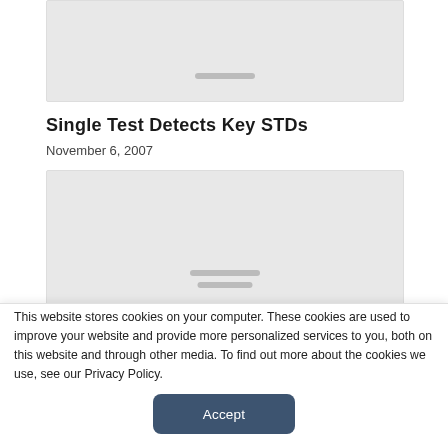[Figure (other): Placeholder image area at top of article card, light gray background with two horizontal gray lines suggesting loading or image placeholder]
Single Test Detects Key STDs
November 6, 2007
[Figure (other): Placeholder image area for second article card, light gray background with two horizontal gray lines at bottom suggesting loading or image placeholder]
This website stores cookies on your computer. These cookies are used to improve your website and provide more personalized services to you, both on this website and through other media. To find out more about the cookies we use, see our Privacy Policy.